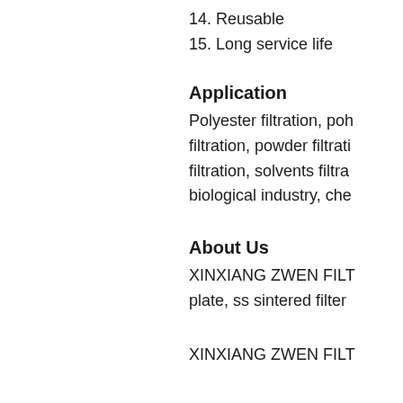14. Reusable
15. Long service life
Application
Polyester filtration, poh filtration, powder filtrati filtration, solvents filtra biological industry, che
About Us
XINXIANG ZWEN FILT plate, ss sintered filter
XINXIANG ZWEN FILT